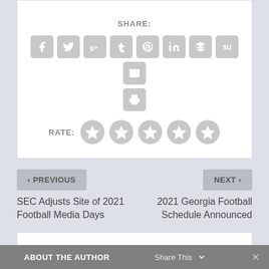SHARE:
[Figure (infographic): Social sharing icon buttons: Facebook, Twitter, Google+, Tumblr, Pinterest, LinkedIn, Buffer, StumbleUpon, Email, Print]
RATE:
[Figure (infographic): Five grey star rating circles]
< PREVIOUS
NEXT >
SEC Adjusts Site of 2021 Football Media Days
2021 Georgia Football Schedule Announced
ABOUT THE AUTHOR
Share This